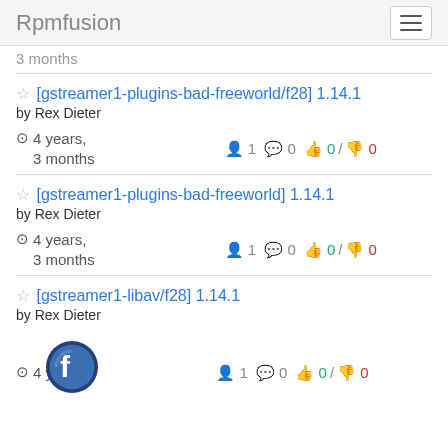Rpmfusion
3 months
[gstreamer1-plugins-bad-freeworld/f28] 1.14.1 by Rex Dieter — 4 years, 3 months — 1 follower, 0 comments, 0 up / 0 down
[gstreamer1-plugins-bad-freeworld] 1.14.1 by Rex Dieter — 4 years, 3 months — 1 follower, 0 comments, 0 up / 0 down
[gstreamer1-libav/f28] 1.14.1 by Rex Dieter — 4 years — 1 follower, 0 comments, 0 up / 0 down